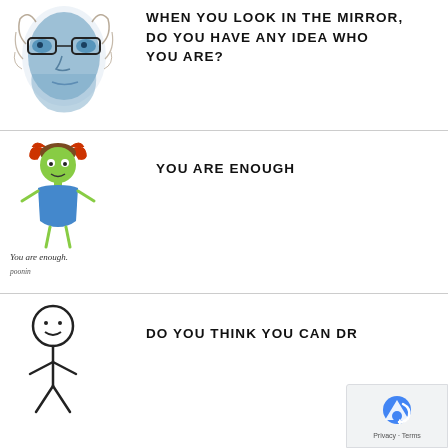[Figure (illustration): Watercolor-style drawing of a face with glasses, painted in blue tones]
WHEN YOU LOOK IN THE MIRROR, DO YOU HAVE ANY IDEA WHO YOU ARE?
[Figure (illustration): Childlike drawing of a stick-figure girl with green face, red pigtails, blue dress, arms out. Caption: You are enough. Signature below.]
You are enough.
poonin
YOU ARE ENOUGH
[Figure (illustration): Simple black outline stick figure with a circle head and smiley face]
DO YOU THINK YOU CAN DR...